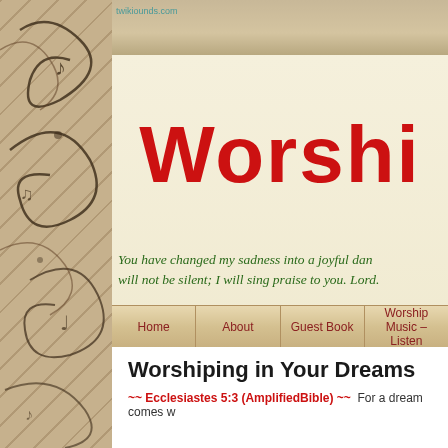[Figure (screenshot): Decorative left panel with dark swirl/music note patterns on tan/brown textured background]
twikiounds.com
Worshi (WORSHIP - partially cropped)
You have changed my sadness into a joyful dance will not be silent; I will sing praise to you. Lord.
Home
About
Guest Book
Worship Music - Listen
Worshiping in Your Dreams
~~ Ecclesiastes 5:3 (AmplifiedBible) ~~  For a dream comes w